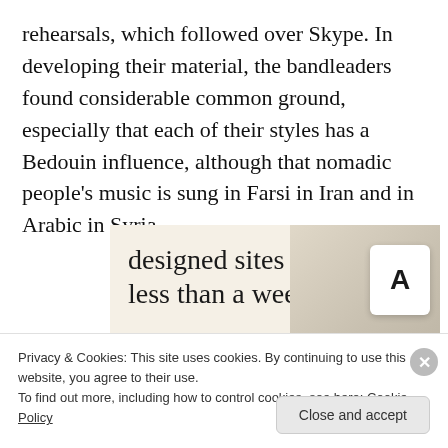rehearsals, which followed over Skype. In developing their material, the bandleaders found considerable common ground, especially that each of their styles has a Bedouin influence, although that nomadic people's music is sung in Farsi in Iran and in Arabic in Syria.
[Figure (screenshot): Advertisement banner with beige background showing text 'designed sites in less than a week', a green 'Explore options' button, and website/app screenshots on the right side.]
Privacy & Cookies: This site uses cookies. By continuing to use this website, you agree to their use.
To find out more, including how to control cookies, see here: Cookie Policy
Close and accept